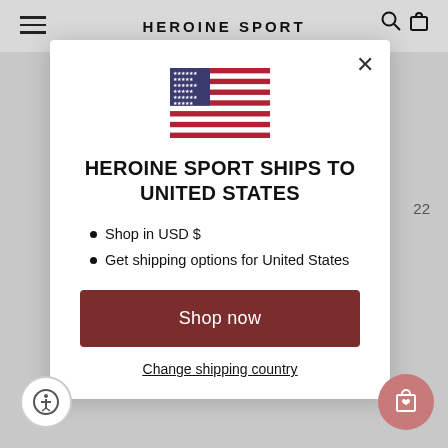HEROINE SPORT
[Figure (illustration): US flag SVG illustration]
HEROINE SPORT SHIPS TO UNITED STATES
Shop in USD $
Get shipping options for United States
Shop now
Change shipping country